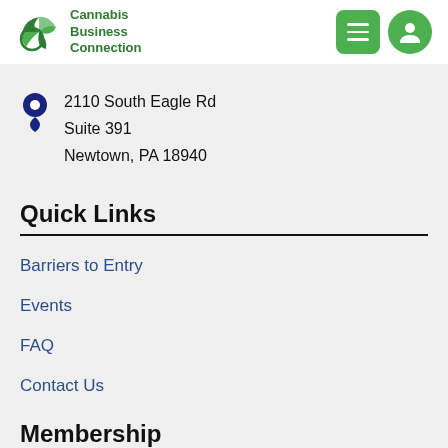Cannabis Business Connection
2110 South Eagle Rd
Suite 391
Newtown, PA 18940
Quick Links
Barriers to Entry
Events
FAQ
Contact Us
Membership
Login